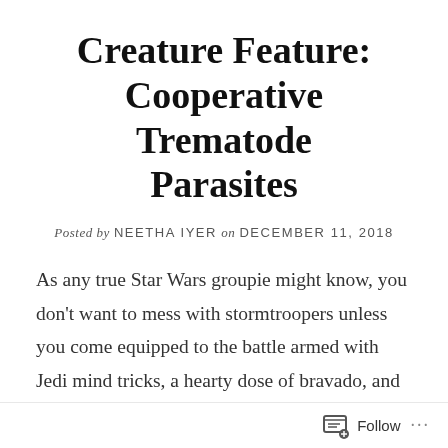Creature Feature: Cooperative Trematode Parasites
Posted by NEETHA IYER on DECEMBER 11, 2018
As any true Star Wars groupie might know, you don't want to mess with stormtroopers unless you come equipped to the battle armed with Jedi mind tricks, a hearty dose of bravado, and a shiny, shiny lightsaber. In earlier episodes of the franchise, stormtroopers tended to be portrayed as a villainous kamikaze foot soldiers for the Dark Side. If we were to try to explain the